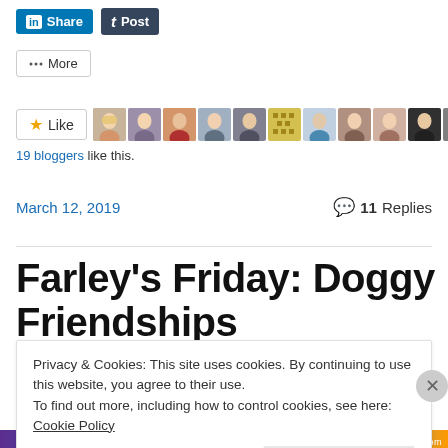[Figure (screenshot): LinkedIn Share button (blue) and Tumblr Post button (dark navy) social sharing buttons]
[Figure (screenshot): More sharing options button with share icon]
[Figure (screenshot): Like button with star icon, followed by a strip of 11 blogger avatar thumbnails]
19 bloggers like this.
March 12, 2019
11 Replies
Farley's Friday: Doggy Friendships
Privacy & Cookies: This site uses cookies. By continuing to use this website, you agree to their use.
To find out more, including how to control cookies, see here: Cookie Policy
[Figure (screenshot): Close and accept button for the cookie consent banner]